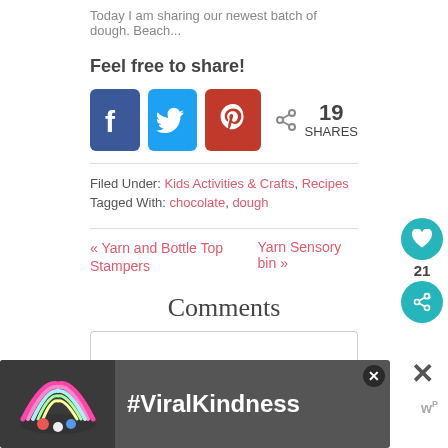Today I am sharing our newest batch of dough. Beach...
Feel free to share!
[Figure (infographic): Social share buttons: Facebook (blue), Twitter (cyan), Pinterest (red), with share count of 19 SHARES]
Filed Under: Kids Activities & Crafts, Recipes
Tagged With: chocolate, dough
« Yarn and Bottle Top Stampers
Yarn Sensory bin »
Comments
[Figure (infographic): #ViralKindness ad banner with rainbow graphic]